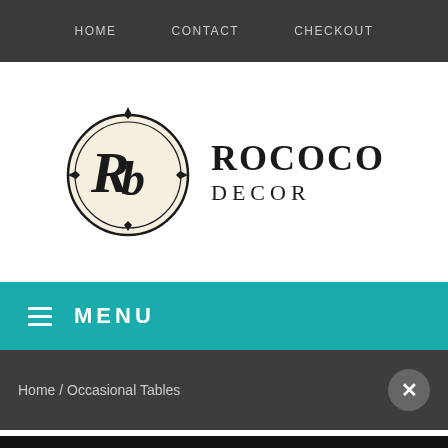HOME   CONTACT   CHECKOUT
[Figure (logo): Rococo Decor logo with stylized RD monogram in ornate circle and brand name text]
≡ MENU
Home / Occasional Tables
WELCOME
SUBSCRIBE